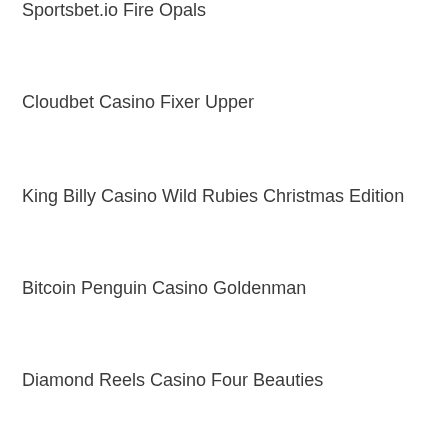Sportsbet.io Fire Opals
Cloudbet Casino Fixer Upper
King Billy Casino Wild Rubies Christmas Edition
Bitcoin Penguin Casino Goldenman
Diamond Reels Casino Four Beauties